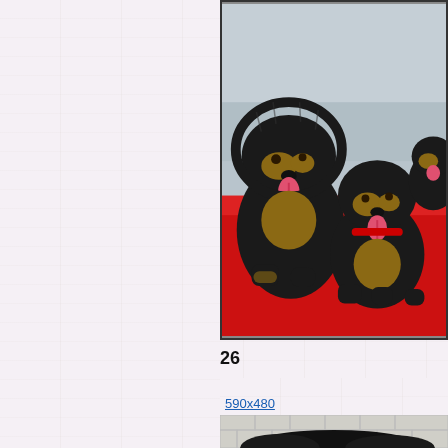[Figure (photo): Three Tibetan Mastiff puppies sitting on a red sofa, black and tan fluffy fur, tongues out]
26
590x480
[Figure (photo): Partial view of a large black fluffy dog against a brick wall background]